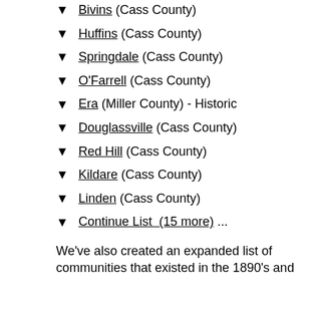Bivins (Cass County)
Huffins (Cass County)
Springdale (Cass County)
O'Farrell (Cass County)
Era (Miller County) - Historic
Douglassville (Cass County)
Red Hill (Cass County)
Kildare (Cass County)
Linden (Cass County)
Continue List  (15 more) ...
We've also created an expanded list of communities that existed in the 1890's and